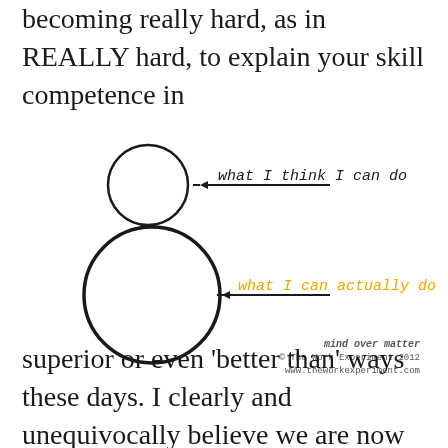becoming really hard, as in REALLY hard, to explain your skill competence in
[Figure (illustration): Two circles diagram: small circle labeled 'what I think I can do' with an arrow, and a larger circle labeled 'what I can actually do' in yellow/gold with an arrow. Illustrates Dunning-Kruger concept.]
mind over matter © The Work Experiment 2012 www.theworkexperiment.com
superior or even 'better than' ways these days. I clearly and unequivocally believe we are now officially in the